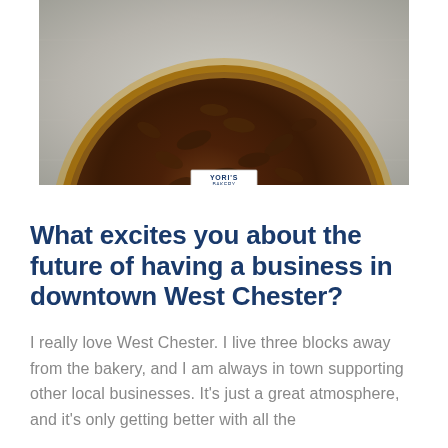[Figure (photo): A pecan pie from Yori's Bakery viewed from above, sitting on a metallic/reflective surface. The pie has a golden-brown crust rim with dark pecan filling, and a small white label reading 'YORI'S BAKERY' is visible at the bottom center of the pie.]
What excites you about the future of having a business in downtown West Chester?
I really love West Chester. I live three blocks away from the bakery, and I am always in town supporting other local businesses. It's just a great atmosphere, and it's only getting better with all the